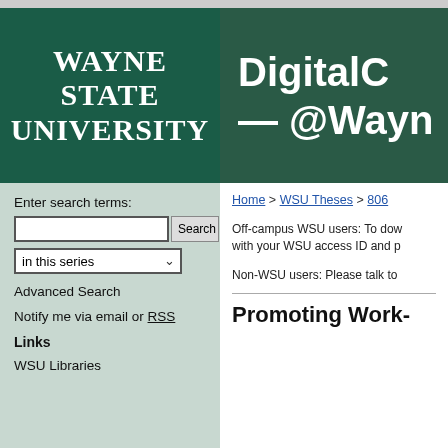[Figure (logo): Wayne State University logo with white bold text on dark green background]
[Figure (logo): DigitalCommons @Wayne partial logo with white bold text on dark green background]
Enter search terms:
in this series
Advanced Search
Notify me via email or RSS
Links
WSU Libraries
Home > WSU Theses > 806
Off-campus WSU users: To dow with your WSU access ID and p
Non-WSU users: Please talk to
Promoting Work-